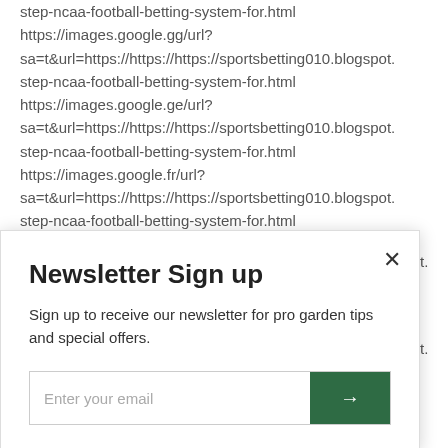step-ncaa-football-betting-system-for.html https://images.google.gg/url? sa=t&url=https://https://https://sportsbetting010.blogspot. step-ncaa-football-betting-system-for.html https://images.google.ge/url? sa=t&url=https://https://https://sportsbetting010.blogspot. step-ncaa-football-betting-system-for.html https://images.google.fr/url? sa=t&url=https://https://https://sportsbetting010.blogspot. step-ncaa-football-betting-system-for.html
Newsletter Sign up
Sign up to receive our newsletter for pro garden tips and special offers.
Enter your email
sa=t&url=https://https://https://sportsbetting010.blogspot.